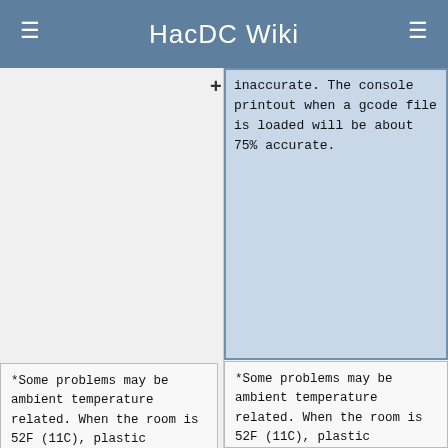HacDC Wiki
inaccurate. The console printout when a gcode file is loaded will be about 75% accurate.
*Some problems may be ambient temperature related. When the room is 52F (11C), plastic curling, extruder jams, and Z-axis endstop malfunction are more likely. Placing a space heater on medium heat (~750W) at least four feet from the RepRap helps. Usual concerns about space heaters apply,
*Some problems may be ambient temperature related. When the room is 52F (11C), plastic curling, extruder jams, and Z-axis endstop malfunction are more likely. Placing a space heater on medium heat (~750W) at least four feet from the RepRap helps. Usual concerns about space heaters apply,